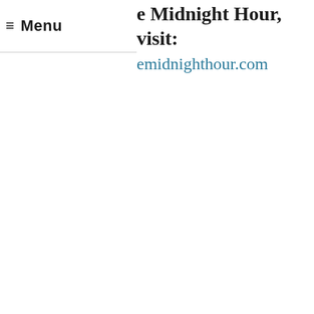Menu
e Midnight Hour, visit:
emidnighthour.com